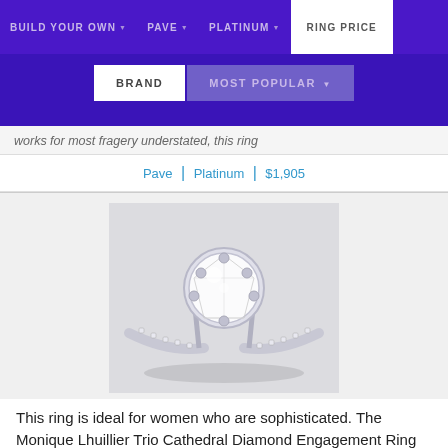BUILD YOUR OWN | PAVE | PLATINUM | RING PRICE
BRAND | MOST POPULAR
works for most fragery understated, this ring
Pave | Platinum | $1,905
[Figure (photo): A Monique Lhuillier Trio Cathedral Diamond Engagement Ring in Platinum, featuring a large round center diamond set in a cathedral-style prong setting with pave diamonds along the band.]
This ring is ideal for women who are sophisticated. The Monique Lhuillier Trio Cathedral Diamond Engagement Ring in Platinum is one of the most exotic yet elegant